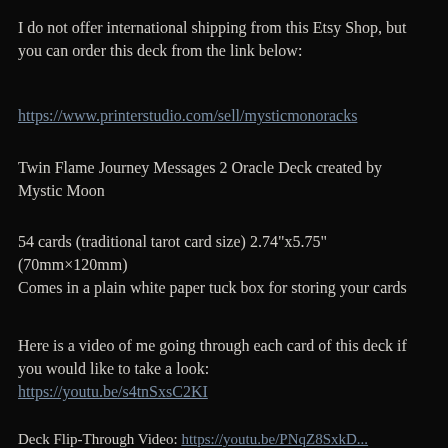I do not offer international shipping from this Etsy Shop, but you can order this deck from the link below:
https://www.printerstudio.com/sell/mysticmonoracks
Twin Flame Journey Messages 2 Oracle Deck created by Mystic Moon
54 cards (traditional tarot card size) 2.74"x5.75" (70mm×120mm)
Comes in a plain white paper tuck box for storing your cards
Here is a video of me going through each card of this deck if you would like to take a look:
https://youtu.be/s4tnSxsC2KI
Deck Flip-Through Video: https://youtu.be/PNqZ8SxkD...